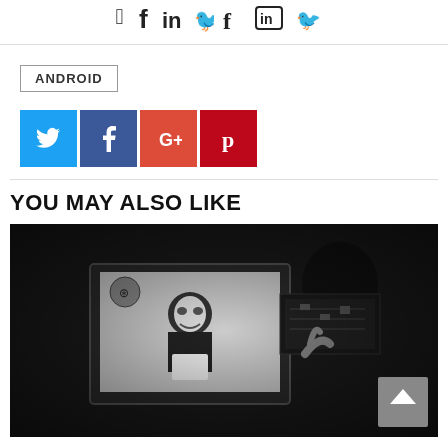[Figure (illustration): Social media share icons (Facebook, LinkedIn, Twitter) at top center]
ANDROID
[Figure (infographic): Four social share buttons: Twitter (blue), Facebook (dark blue), Google+ (red-orange), Pinterest (red)]
YOU MAY ALSO LIKE
[Figure (photo): Dark hacker scene: person wearing Anonymous Guy Fawkes mask on monitor screen, another person in silhouette looking at circuit board display. Black and white photo with dark background. Back-to-top button in lower right.]